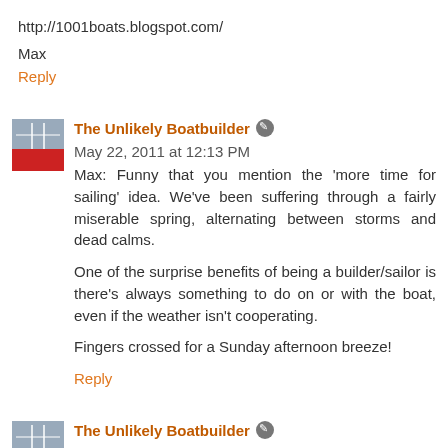http://1001boats.blogspot.com/
Max
Reply
The Unlikely Boatbuilder  May 22, 2011 at 12:13 PM
Max: Funny that you mention the 'more time for sailing' idea. We've been suffering through a fairly miserable spring, alternating between storms and dead calms.

One of the surprise benefits of being a builder/sailor is there's always something to do on or with the boat, even if the weather isn't cooperating.

Fingers crossed for a Sunday afternoon breeze!
Reply
The Unlikely Boatbuilder  May 22, 2011 at 12:18 PM